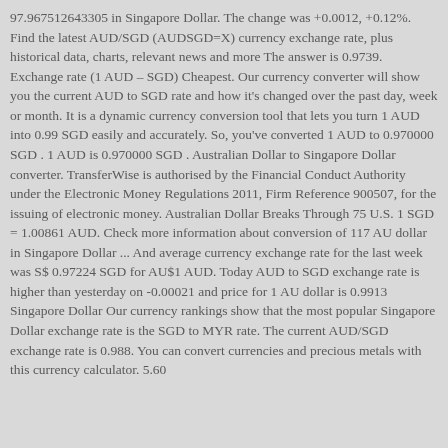97.967512643305 in Singapore Dollar. The change was +0.0012, +0.12%. Find the latest AUD/SGD (AUDSGD=X) currency exchange rate, plus historical data, charts, relevant news and more The answer is 0.9739. Exchange rate (1 AUD – SGD) Cheapest. Our currency converter will show you the current AUD to SGD rate and how it's changed over the past day, week or month. It is a dynamic currency conversion tool that lets you turn 1 AUD into 0.99 SGD easily and accurately. So, you've converted 1 AUD to 0.970000 SGD . 1 AUD is 0.970000 SGD . Australian Dollar to Singapore Dollar converter. TransferWise is authorised by the Financial Conduct Authority under the Electronic Money Regulations 2011, Firm Reference 900507, for the issuing of electronic money. Australian Dollar Breaks Through 75 U.S. 1 SGD = 1.00861 AUD. Check more information about conversion of 117 AU dollar in Singapore Dollar ... And average currency exchange rate for the last week was S$ 0.97224 SGD for AU$1 AUD. Today AUD to SGD exchange rate is higher than yesterday on -0.00021 and price for 1 AU dollar is 0.9913 Singapore Dollar Our currency rankings show that the most popular Singapore Dollar exchange rate is the SGD to MYR rate. The current AUD/SGD exchange rate is 0.988. You can convert currencies and precious metals with this currency calculator. 5.60